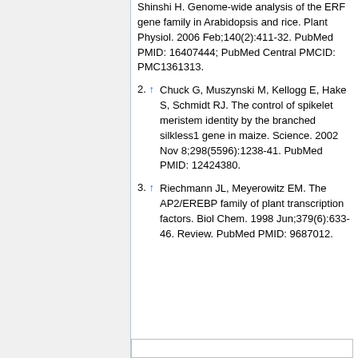Shinshi H. Genome-wide analysis of the ERF gene family in Arabidopsis and rice. Plant Physiol. 2006 Feb;140(2):411-32. PubMed PMID: 16407444; PubMed Central PMCID: PMC1361313.
2. ↑ Chuck G, Muszynski M, Kellogg E, Hake S, Schmidt RJ. The control of spikelet meristem identity by the branched silkless1 gene in maize. Science. 2002 Nov 8;298(5596):1238-41. PubMed PMID: 12424380.
3. ↑ Riechmann JL, Meyerowitz EM. The AP2/EREBP family of plant transcription factors. Biol Chem. 1998 Jun;379(6):633-46. Review. PubMed PMID: 9687012.